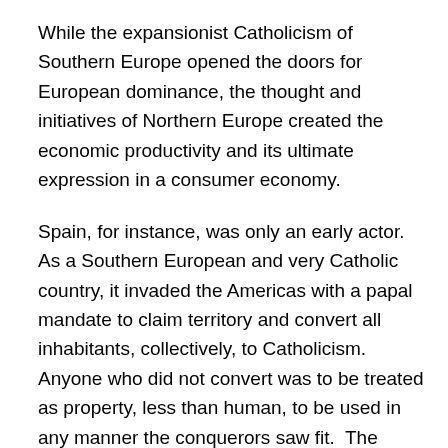While the expansionist Catholicism of Southern Europe opened the doors for European dominance, the thought and initiatives of Northern Europe created the economic productivity and its ultimate expression in a consumer economy.
Spain, for instance, was only an early actor.  As a Southern European and very Catholic country, it invaded the Americas with a papal mandate to claim territory and convert all inhabitants, collectively, to Catholicism.  Anyone who did not convert was to be treated as property, less than human, to be used in any manner the conquerors saw fit.  The mandate resulted in gross subjugation and abuse of the conquered populations and reckless extraction of resources.
But Spain experienced little lasting benefit.  The